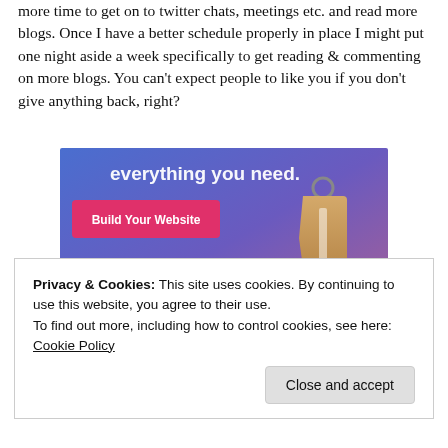more time to get on to twitter chats, meetings etc. and read more blogs. Once I have a better schedule properly in place I might put one night aside a week specifically to get reading & commenting on more blogs. You can't expect people to like you if you don't give anything back, right?
[Figure (screenshot): Advertisement banner with blue-purple gradient background showing text 'everything you need.' with a pink 'Build Your Website' button and a decorative luggage tag graphic]
Privacy & Cookies: This site uses cookies. By continuing to use this website, you agree to their use.
To find out more, including how to control cookies, see here: Cookie Policy